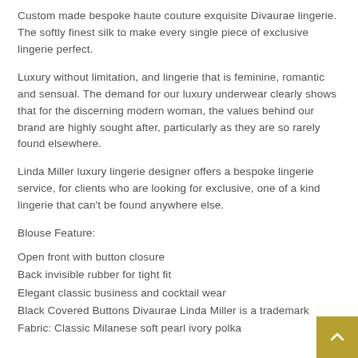Custom made bespoke haute couture exquisite Divaurae lingerie. The softly finest silk to make every single piece of exclusive lingerie perfect.
Luxury without limitation, and lingerie that is feminine, romantic and sensual. The demand for our luxury underwear clearly shows that for the discerning modern woman, the values behind our brand are highly sought after, particularly as they are so rarely found elsewhere.
Linda Miller luxury lingerie designer offers a bespoke lingerie service, for clients who are looking for exclusive, one of a kind lingerie that can't be found anywhere else.
Blouse Feature:
Open front with button closure
Back invisible rubber for tight fit
Elegant classic business and cocktail wear
Black Covered Buttons Divaurae Linda Miller is a trademark
Fabric: Classic Milanese soft pearl ivory polka